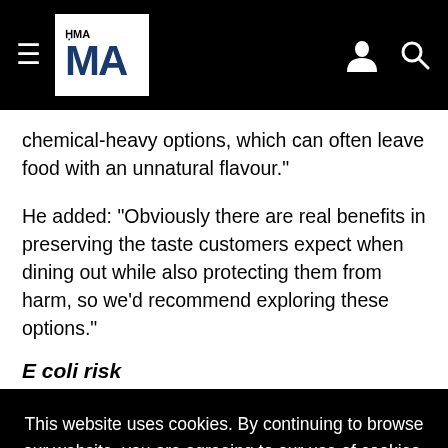THE MA
chemical-heavy options, which can often leave food with an unnatural flavour."
He added: "Obviously there are real benefits in preserving the taste customers expect when dining out while also protecting them from harm, so we'd recommend exploring these options."
E coli risk
This website uses cookies. By continuing to browse our website, you are agreeing to our use of cookies. You can learn more about cookies by visiting our privacy & cookies policy page.